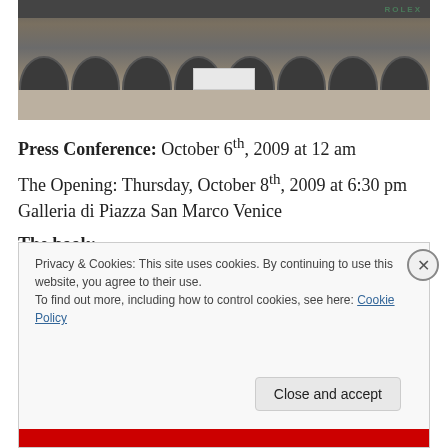[Figure (photo): Photograph of a building facade resembling Galleria di Piazza San Marco in Venice, showing arcade arches, a canopy, and a Rolex banner at the top.]
Press Conference: October 6th, 2009 at 12 am
The Opening: Thursday, October 8th, 2009 at 6:30 pm
Galleria di Piazza San Marco Venice
The book:
Privacy & Cookies: This site uses cookies. By continuing to use this website, you agree to their use.
To find out more, including how to control cookies, see here: Cookie Policy
Close and accept